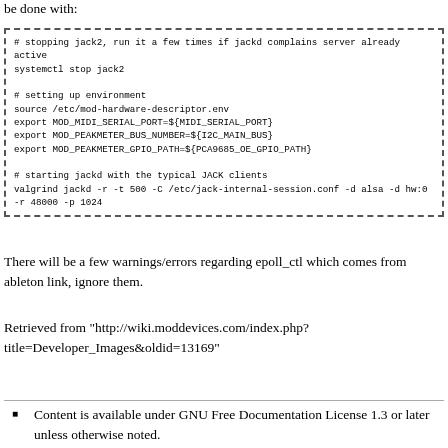be done with:
# stopping jack2, run it a few times if jackd complains server already active
systemctl stop jack2

# setting up environment
source /etc/mod-hardware-descriptor.env
export MOD_MIDI_SERIAL_PORT=${MIDI_SERIAL_PORT}
export MOD_PEAKMETER_BUS_NUMBER=${I2C_MAIN_BUS}
export MOD_PEAKMETER_GPIO_PATH=${PCA9685_OE_GPIO_PATH}

# starting jackd with the typical JACK clients
valgrind jackd -r -t 500 -C /etc/jack-internal-session.conf -d alsa -d hw:0 -r 48000 -p 1024
There will be a few warnings/errors regarding epoll_ctl which comes from ableton link, ignore them.
Retrieved from "http://wiki.moddevices.com/index.php?title=Developer_Images&oldid=13169"
Content is available under GNU Free Documentation License 1.3 or later unless otherwise noted.